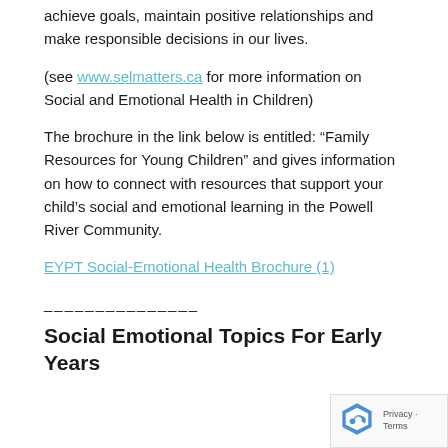achieve goals, maintain positive relationships and make responsible decisions in our lives.
(see www.selmatters.ca for more information on Social and Emotional Health in Children)
The brochure in the link below is entitled: “Family Resources for Young Children” and gives information on how to connect with resources that support your child’s social and emotional learning in the Powell River Community.
EYPT Social-Emotional Health Brochure (1)
_______________
Social Emotional Topics For Early Years